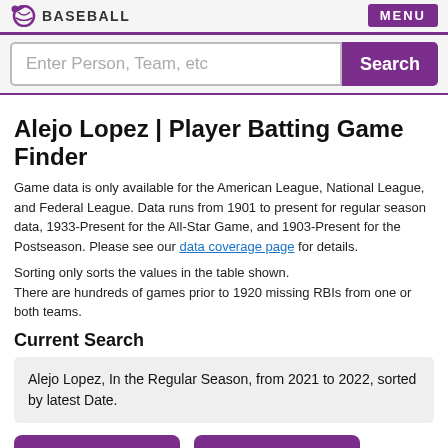BASEBALL | MENU
Enter Person, Team, etc | Search
Alejo Lopez | Player Batting Game Finder
Game data is only available for the American League, National League, and Federal League. Data runs from 1901 to present for regular season data, 1933-Present for the All-Star Game, and 1903-Present for the Postseason. Please see our data coverage page for details.
Sorting only sorts the values in the table shown.
There are hundreds of games prior to 1920 missing RBIs from one or both teams.
Current Search
Alejo Lopez, In the Regular Season, from 2021 to 2022, sorted by latest Date.
≡ Show Criteria  ➡ Share Results